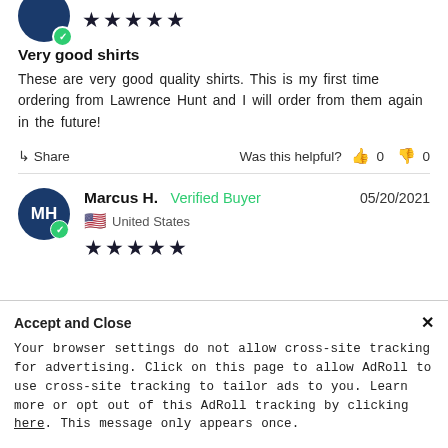[Figure (illustration): Partial avatar circle (dark navy) with verified badge and 5-star rating at top of page for first review]
Very good shirts
These are very good quality shirts. This is my first time ordering from Lawrence Hunt and I will order from them again in the future!
Share   Was this helpful?  👍 0  👎 0
[Figure (illustration): Avatar circle MH (Marcus H.) with verified badge, 5 stars, US flag, United States label]
Marcus H.  Verified Buyer   05/20/2021
🇺🇸 United States
★★★★★
exactly what I was looking for
Perfect shirt for biking to work.
Accept and Close ✕
Your browser settings do not allow cross-site tracking for advertising. Click on this page to allow AdRoll to use cross-site tracking to tailor ads to you. Learn more or opt out of this AdRoll tracking by clicking here. This message only appears once.